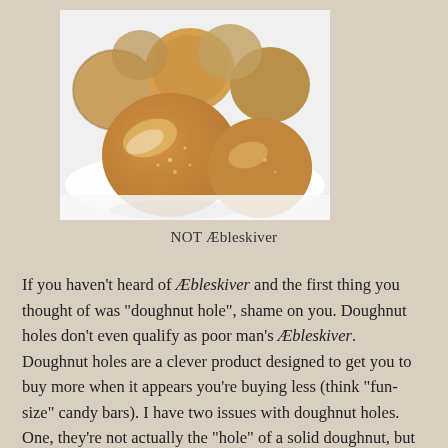[Figure (photo): A pile of golden-brown round fried dough balls (resembling doughnut holes) on a white surface, photographed up close.]
NOT Æbleskiver
If you haven't heard of Æbleskiver and the first thing you thought of was "doughnut hole", shame on you. Doughnut holes don't even qualify as poor man's Æbleskiver.  Doughnut holes are a clever product designed to get you to buy more when it appears you're buying less (think "fun-size" candy bars).  I have two issues with doughnut holes.  One, they're not actually the "hole" of a solid doughnut, but prepared and baked separately instead.  Two, they're not shaped like a doughnut hole should be (picture it – something